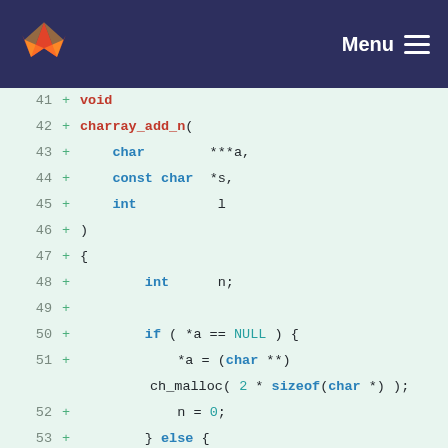Menu
[Figure (screenshot): GitLab code diff view showing lines 41-57 of a C source file. Lines show the addition of a function charray_add_n with parameters char ***a, const char *s, int l. The function body includes an if/else block checking if *a == NULL, allocating memory with ch_malloc, and a for loop.]